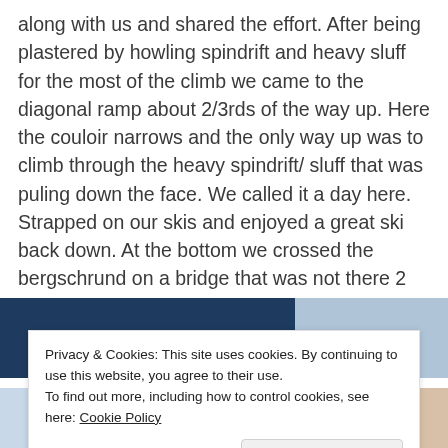along with us and shared the effort. After being plastered by howling spindrift and heavy sluff for the most of the climb we came to the diagonal ramp about 2/3rds of the way up. Here the couloir narrows and the only way up was to climb through the heavy spindrift/sluff that was puling down the face. We called it a day here. Strapped on our skis and enjoyed a great ski back down. At the bottom we crossed the bergschrund on a bridge that was not there 2 hours earlier when we started. Lots of moving snow!
[Figure (photo): Two side-by-side images partially visible: left image shows a dark navy/blue mountainous scene, right image shows a lighter sky/mountain scene.]
[Figure (photo): Two side-by-side images at bottom: left shows snowy mountain terrain, right shows a skier on a mountain face.]
Privacy & Cookies: This site uses cookies. By continuing to use this website, you agree to their use.
To find out more, including how to control cookies, see here: Cookie Policy